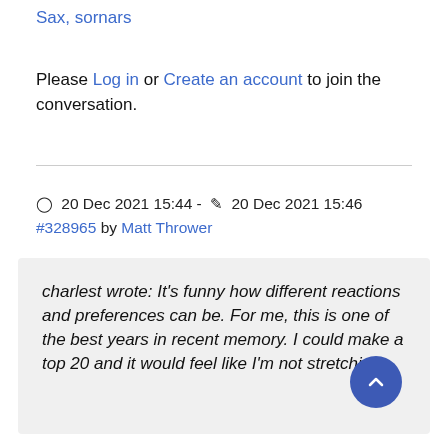Sax, sornars
Please Log in or Create an account to join the conversation.
20 Dec 2021 15:44 - 20 Dec 2021 15:46 #328965 by Matt Thrower
charlest wrote: It's funny how different reactions and preferences can be. For me, this is one of the best years in recent memory. I could make a top 20 and it would feel like I'm not stretching.